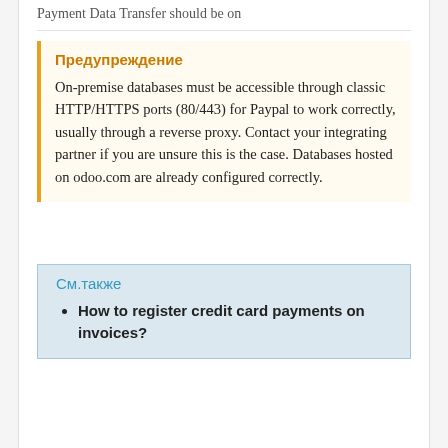Payment Data Transfer should be on
Предупреждение
On-premise databases must be accessible through classic HTTP/HTTPS ports (80/443) for Paypal to work correctly, usually through a reverse proxy. Contact your integrating partner if you are unsure this is the case. Databases hosted on odoo.com are already configured correctly.
См.также
How to register credit card payments on invoices?